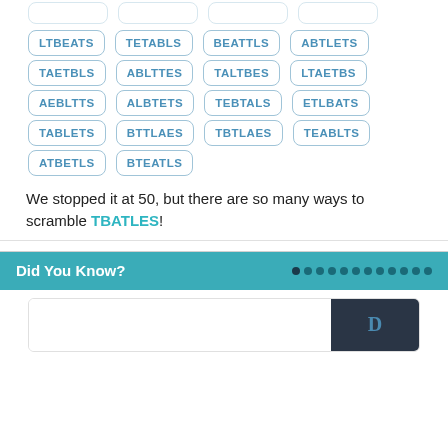LTBEATS
TETABLS
BEATTLS
ABTLETS
TAETBLS
ABLTTES
TALTBES
LTAETBS
AEBLTTS
ALBTETS
TEBTALS
ETLBATS
TABLETS
BTTLAES
TBTLAES
TEABLTS
ATBETLS
BTEATLS
We stopped it at 50, but there are so many ways to scramble TBATLES!
Did You Know?